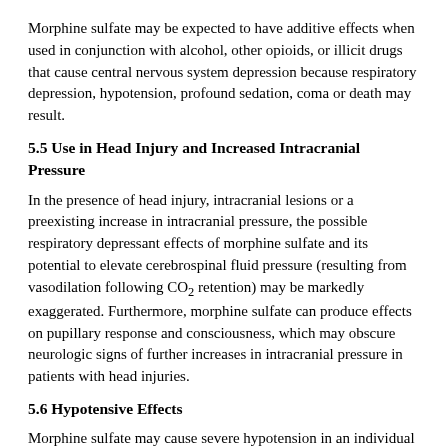Morphine sulfate may be expected to have additive effects when used in conjunction with alcohol, other opioids, or illicit drugs that cause central nervous system depression because respiratory depression, hypotension, profound sedation, coma or death may result.
5.5 Use in Head Injury and Increased Intracranial Pressure
In the presence of head injury, intracranial lesions or a preexisting increase in intracranial pressure, the possible respiratory depressant effects of morphine sulfate and its potential to elevate cerebrospinal fluid pressure (resulting from vasodilation following CO₂ retention) may be markedly exaggerated. Furthermore, morphine sulfate can produce effects on pupillary response and consciousness, which may obscure neurologic signs of further increases in intracranial pressure in patients with head injuries.
5.6 Hypotensive Effects
Morphine sulfate may cause severe hypotension in an individual whose ability to maintain blood pressure has already been compromised by a depleted blood volume or concurrent administration of drugs such as phenothiazines or general anesthetics. Morphine sulfate may produce orthostatic hypotension and syncope in ambulatory patients.